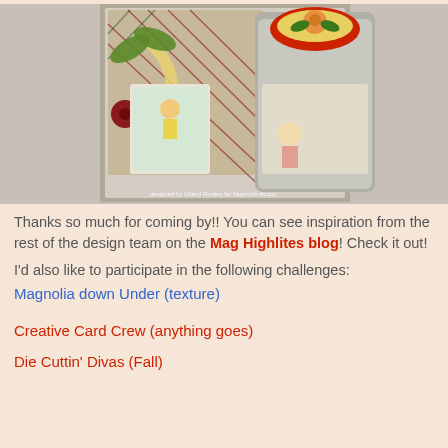[Figure (photo): Crafted handmade cards and a decorated mason jar with floral embellishments, plaid patterned paper, ribbons, and a cute character stamp. Watermark reads 'designed by Cheryl Rowley for Magnolia-licious'.]
Thanks so much for coming by!! You can see inspiration from the rest of the design team on the Mag Highlites blog! Check it out!
I'd also like to participate in the following challenges:
Magnolia down Under (texture)
Creative Card Crew (anything goes)
Die Cuttin' Divas (Fall)